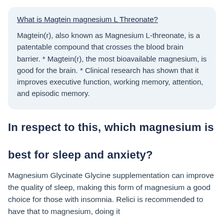What is Magtein magnesium L Threonate?
Magtein(r), also known as Magnesium L-threonate, is a patentable compound that crosses the blood brain barrier. * Magtein(r), the most bioavailable magnesium, is good for the brain. * Clinical research has shown that it improves executive function, working memory, attention, and episodic memory.
In respect to this, which magnesium is best for sleep and anxiety?
Magnesium Glycinate Glycine supplementation can improve the quality of sleep, making this form of magnesium a good choice for those with insomnia. Relici...